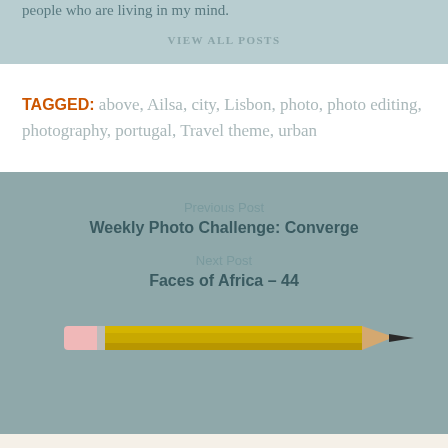people who are living in my mind.
VIEW ALL POSTS
TAGGED: above, Ailsa, city, Lisbon, photo, photo editing, photography, portugal, Travel theme, urban
Previous Post
Weekly Photo Challenge: Converge
Next Post
Faces of Africa – 44
[Figure (illustration): A yellow pencil illustration with pink eraser and dark tip, shown horizontally]